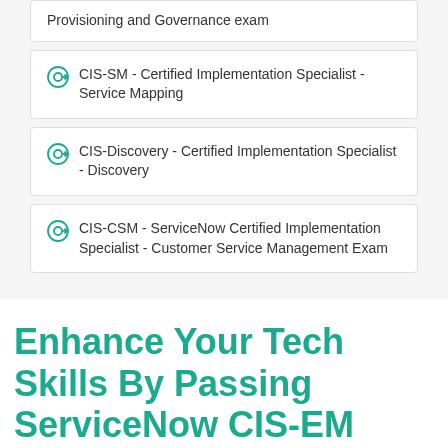Provisioning and Governance exam
CIS-SM - Certified Implementation Specialist - Service Mapping
CIS-Discovery - Certified Implementation Specialist - Discovery
CIS-CSM - ServiceNow Certified Implementation Specialist - Customer Service Management Exam
Enhance Your Tech Skills By Passing ServiceNow CIS-EM Certification Exam